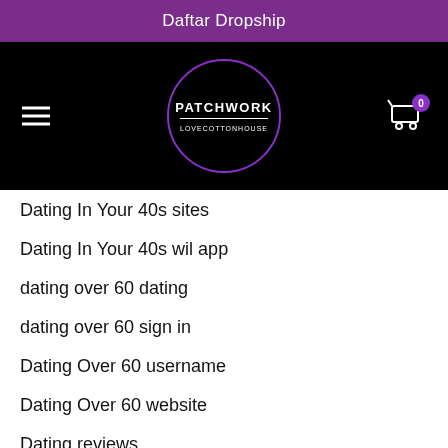Daftar Dropship
[Figure (logo): Patchwork Love Cotton House logo — circular purple-bordered logo on black background with hamburger menu on left and shopping cart with badge '0' on right]
Dating In Your 40s sites
Dating In Your 40s wil app
dating over 60 dating
dating over 60 sign in
Dating Over 60 username
Dating Over 60 website
Dating reviews
dating site